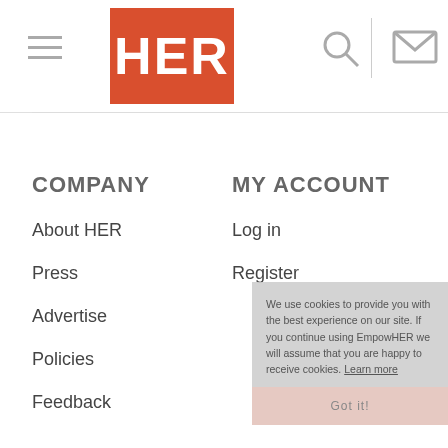HER - navigation header with hamburger menu, logo, search and mail icons
COMPANY
About HER
Press
Advertise
Policies
Feedback
MY ACCOUNT
Log in
Register
We use cookies to provide you with the best experience on our site. If you continue using EmpowHER we will assume that you are happy to receive cookies. Learn more
Got it!